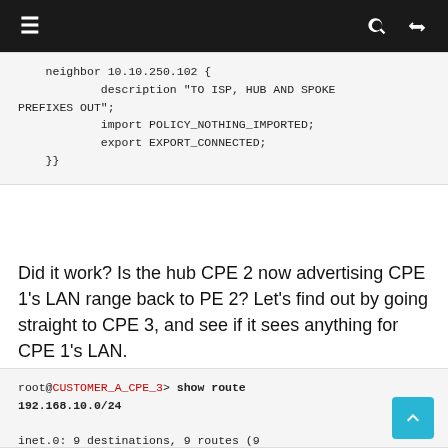≡  🔍  ⇄
neighbor 10.10.250.102 {
        description "TO ISP, HUB AND SPOKE PREFIXES OUT";
        import POLICY_NOTHING_IMPORTED;
        export EXPORT_CONNECTED;
}}
Did it work? Is the hub CPE 2 now advertising CPE 1's LAN range back to PE 2? Let's find out by going straight to CPE 3, and see if it sees anything for CPE 1's LAN.
root@CUSTOMER_A_CPE_3> show route 192.168.10.0/24

inet.0: 9 destinations, 9 routes (9 active, 0 holddown, 0 hidden)
+ = Active Route, - = Last Active, * =